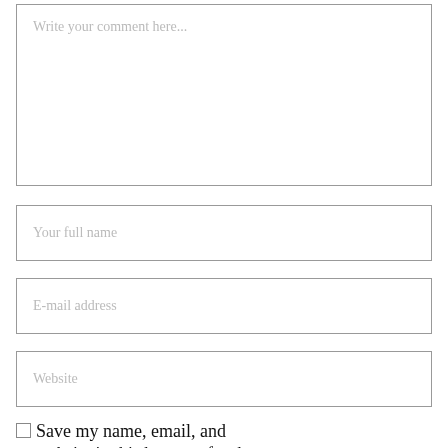Write your comment here...
Your full name
E-mail address
Website
Save my name, email, and website in this browser for the next